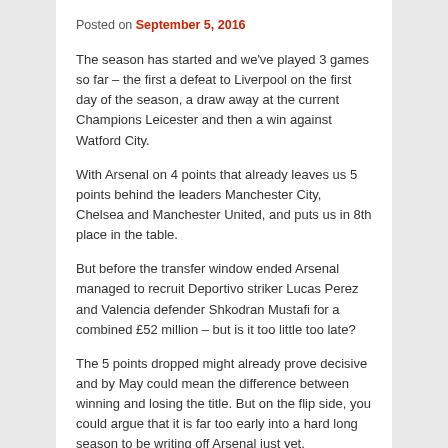Posted on September 5, 2016
The season has started and we've played 3 games so far – the first a defeat to Liverpool on the first day of the season, a draw away at the current Champions Leicester and then a win against Watford City.
With Arsenal on 4 points that already leaves us 5 points behind the leaders Manchester City, Chelsea and Manchester United, and puts us in 8th place in the table.
But before the transfer window ended Arsenal managed to recruit Deportivo striker Lucas Perez and Valencia defender Shkodran Mustafi for a combined £52 million – but is it too little too late?
The 5 points dropped might already prove decisive and by May could mean the difference between winning and losing the title. But on the flip side, you could argue that it is far too early into a hard long season to be writing off Arsenal just yet.